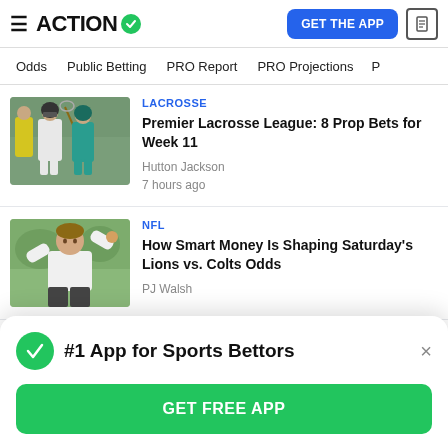ACTION (logo with checkmark) | GET THE APP | document icon
Odds | Public Betting | PRO Report | PRO Projections
[Figure (photo): Lacrosse players in action, one in white jersey, one in teal, referee in yellow]
LACROSSE
Premier Lacrosse League: 8 Prop Bets for Week 11
Hutton Jackson
7 hours ago
[Figure (photo): Male athlete in white t-shirt with arms raised outdoors]
NFL
How Smart Money Is Shaping Saturday's Lions vs. Colts Odds
PJ Walsh
#1 App for Sports Bettors
GET FREE APP
Anthony Dababnbo